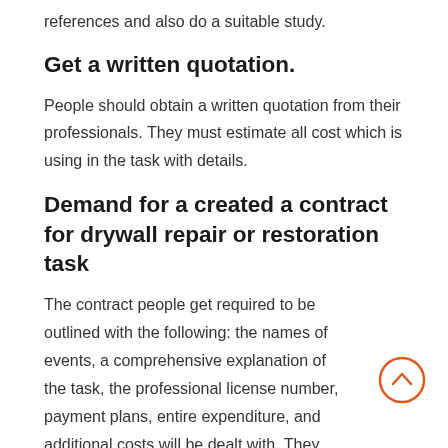references and also do a suitable study.
Get a written quotation.
People should obtain a written quotation from their professionals. They must estimate all cost which is using in the task with details.
Demand for a created a contract for drywall repair or restoration task
The contract people get required to be outlined with the following: the names of events, a comprehensive explanation of the task, the professional license number, payment plans, entire expenditure, and additional costs will be dealt with. They have to check deeply all the